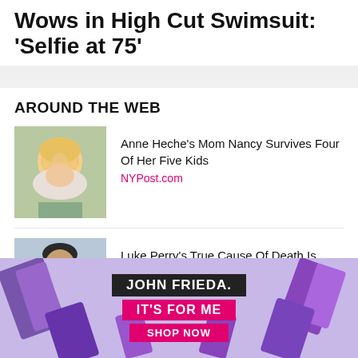Wows in High Cut Swimsuit: 'Selfie at 75'
AROUND THE WEB
[Figure (photo): Photo of an older blonde woman smiling, outdoors]
Anne Heche's Mom Nancy Survives Four Of Her Five Kids
NYPost.com
[Figure (photo): Photo of a dark-haired man with beard]
Luke Perry's True Cause Of Death Is Clearly No Secret Anymore
Healthdigest.com
[Figure (infographic): John Frieda advertisement banner with purple background showing hair products. Text: JOHN FRIEDA. IT'S FOR ME SHOP NOW]